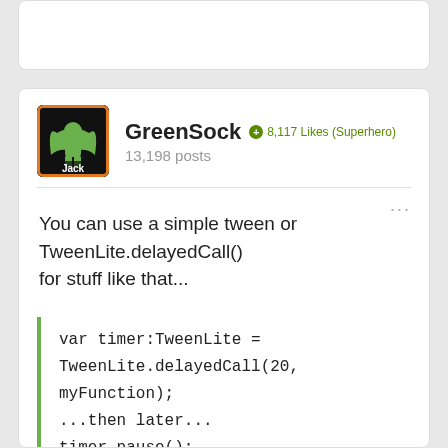[Figure (screenshot): Top white card (partial, cropped at top)]
GreenSock  ⊕8,117 Likes (Superhero)  13,198 posts
You can use a simple tween or TweenLite.delayedCall() for stuff like that...
var timer:TweenLite = TweenLite.delayedCall(20, myFunction);
...then later...
timer.pause();
...and then...